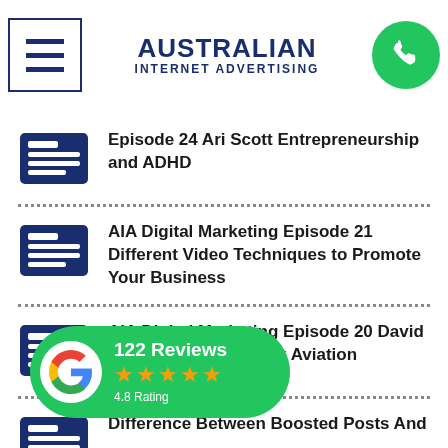AUSTRALIAN INTERNET ADVERTISING
Episode 24 Ari Scott Entrepreneurship and ADHD
AIA Digital Marketing Episode 21 Different Video Techniques to Promote Your Business
AIA Digital Marketing Episode 20 David Mayman from Jetpack Aviation
Difference Between Boosted Posts And
[Figure (logo): Google Reviews badge: 122 Reviews, 4.8 Rating, 4.5 stars]
What's New With Facebook Audience